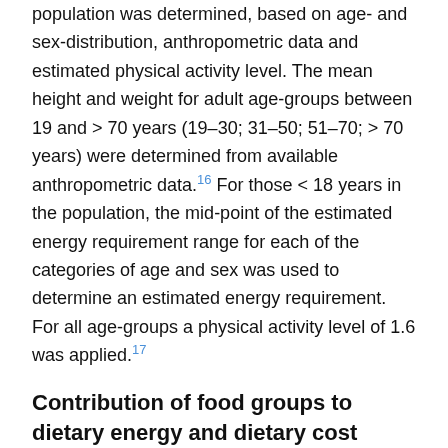An aggregated daily energy requirement for the study population was determined, based on age- and sex-distribution, anthropometric data and estimated physical activity level. The mean height and weight for adult age-groups between 19 and > 70 years (19–30; 31–50; 51–70; > 70 years) were determined from available anthropometric data.16 For those < 18 years in the population, the mid-point of the estimated energy requirement range for each of the categories of age and sex was used to determine an estimated energy requirement. For all age-groups a physical activity level of 1.6 was applied.17
Contribution of food groups to dietary energy and dietary cost
Energy density was defined as the amount of available energy per unit edible weight of food (MJ/kg). Energy cost was defined as the cost per unit of energy ($/MJ)